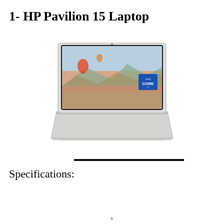1- HP Pavilion 15 Laptop
[Figure (photo): HP Pavilion 15 Laptop open, showing screen with landscape/hot air balloon wallpaper and Intel Core badge, silver body with keyboard visible]
Specifications:
v